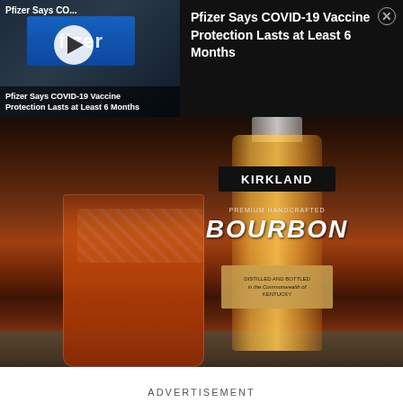[Figure (screenshot): Video thumbnail of Pfizer building with play button and caption: Pfizer Says COVID-19 Vaccine Protection Lasts at Least 6 Months]
Pfizer Says COVID-19 Vaccine Protection Lasts at Least 6 Months
[Figure (photo): Photo of a Kirkland Signature Bourbon bottle next to a glass of bourbon with ice on a granite countertop]
ADVERTISEMENT